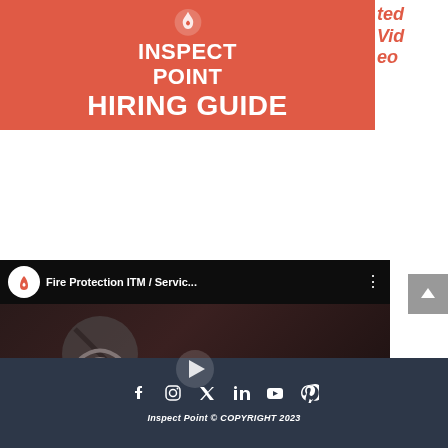[Figure (screenshot): Red banner with white text reading INSPECT POINT HIRING GUIDE with a flame/logo icon at top]
ted Video
[Figure (screenshot): Embedded YouTube video player showing Fire Protection ITM / Servic... with InspectPoint logo, dark thumbnail with no-wifi icon and person, play button overlay, and controls showing 00:00 / 00:40]
Inspect Point © COPYRIGHT 2023